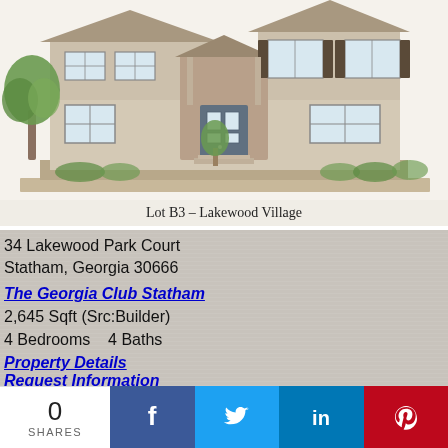[Figure (illustration): Architectural illustration of a two-story craftsman-style home (Lot B3 – Lakewood Village) with trees and landscaping]
Lot B3 – Lakewood Village
34 Lakewood Park Court
Statham, Georgia 30666
The Georgia Club Statham
2,645 Sqft (Src:Builder)
4 Bedrooms   4 Baths
Property Details
Request Information
$670,000
0
SHARES